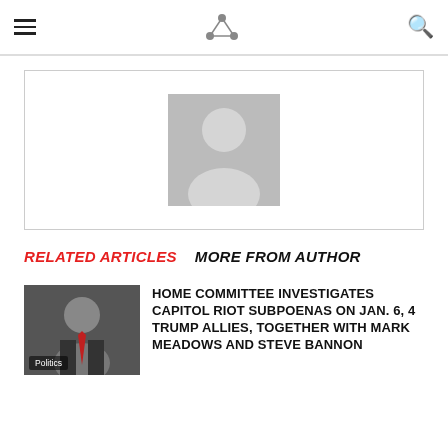The STEM Magazine Press — navigation header with hamburger menu and search icon
[Figure (illustration): Gray avatar/person placeholder image inside a bordered white box (advertisement or profile placeholder)]
RELATED ARTICLES   MORE FROM AUTHOR
[Figure (photo): Thumbnail photo of a man in a suit with red tie, labeled Politics]
HOME COMMITTEE INVESTIGATES CAPITOL RIOT SUBPOENAS ON JAN. 6, 4 TRUMP ALLIES, TOGETHER WITH MARK MEADOWS AND STEVE BANNON